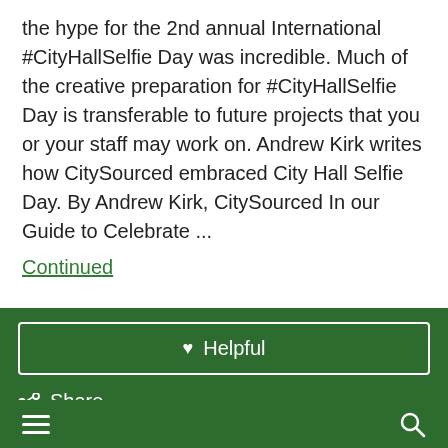the hype for the 2nd annual International #CityHallSelfie Day was incredible. Much of the creative preparation for #CityHallSelfie Day is transferable to future projects that you or your staff may work on. Andrew Kirk writes how CitySourced embraced City Hall Selfie Day. By Andrew Kirk, CitySourced In our Guide to Celebrate ...
Continued
[Figure (screenshot): Green panel UI section with Helpful button (heart icon), Share option, Size option (A icon), and partially visible Translate option, with bottom navigation bar showing hamburger menu and search icon]